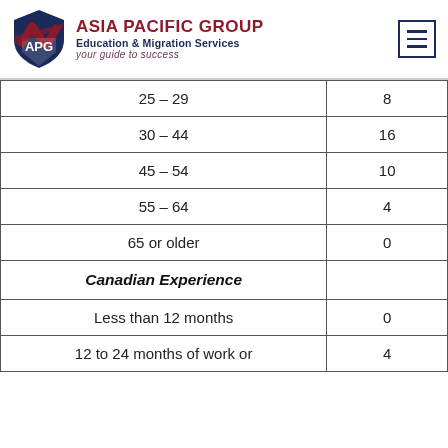[Figure (logo): Asia Pacific Group logo with shield emblem, company name and tagline]
| 25 – 29 | 8 |
| 30 – 44 | 16 |
| 45 – 54 | 10 |
| 55 – 64 | 4 |
| 65 or older | 0 |
| Canadian Experience |  |
| Less than 12 months | 0 |
| 12 to 24 months of work or | 4 |